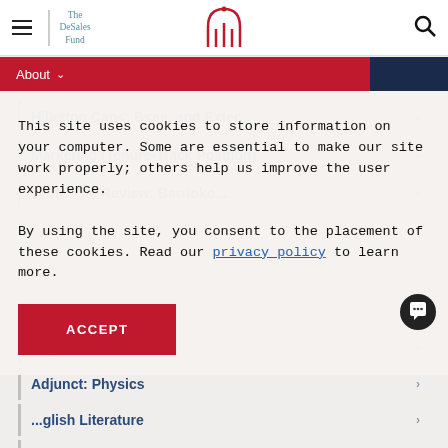The DeSales Fund
About
This site uses cookies to store information on your computer. Some are essential to make our site work properly; others help us improve the user experience.

By using the site, you consent to the placement of these cookies. Read our privacy policy to learn more.
ACCEPT